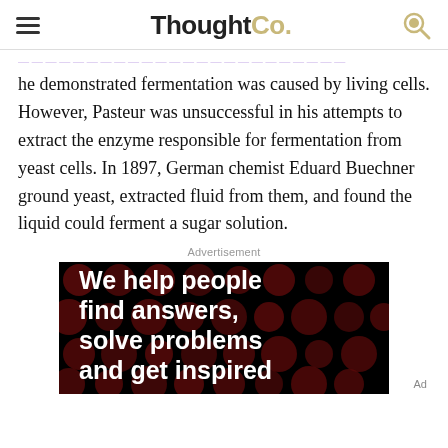ThoughtCo.
he demonstrated fermentation was caused by living cells. However, Pasteur was unsuccessful in his attempts to extract the enzyme responsible for fermentation from yeast cells. In 1897, German chemist Eduard Buechner ground yeast, extracted fluid from them, and found the liquid could ferment a sugar solution.
Advertisement
[Figure (other): Advertisement banner with dark background showing dark red polka dots and bold white text reading 'We help people find answers, solve problems and get inspired' with 'Ad' label in corner]